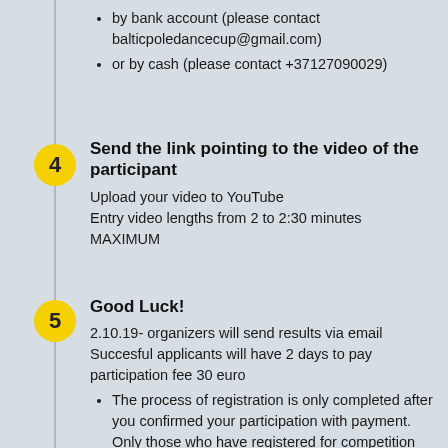by bank account (please contact balticpoledancecup@gmail.com)
or by cash (please contact +37127090029)
4  Send the link pointing to the video of the participant
Upload your video to YouTube
Entry video lengths from 2 to 2:30 minutes MAXIMUM
5  Good Luck!
2.10.19- organizers will send results via email
Succesful applicants will have 2 days to pay participation fee 30 euro
The process of registration is only completed after you confirmed your participation with payment. Only those who have registered for competition will be announced finally...